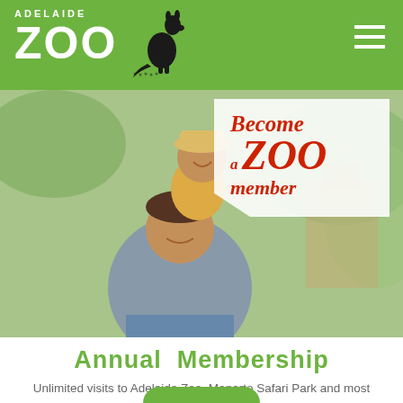ADELAIDE ZOO
[Figure (photo): Father and young child on shoulders laughing outdoors, with 'Become a ZOO member' text overlay on a white tag-shaped background]
Annual Membership
Unlimited visits to Adelaide Zoo, Monarto Safari Park and most Australian zoos.